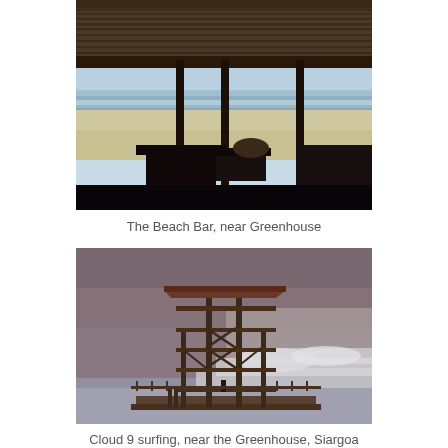[Figure (photo): Beach bar with thatched roof seen from inside, looking out over white sand beach and turquoise sea, with dark silhouette furniture in foreground]
The Beach Bar, near Greenhouse
[Figure (photo): Multi-storey wooden scaffolding structure (Cloud 9 surf tower) on a pier over turbulent surf with large waves and misty purple-grey sky]
Cloud 9 surfing, near the Greenhouse, Siargoa Island